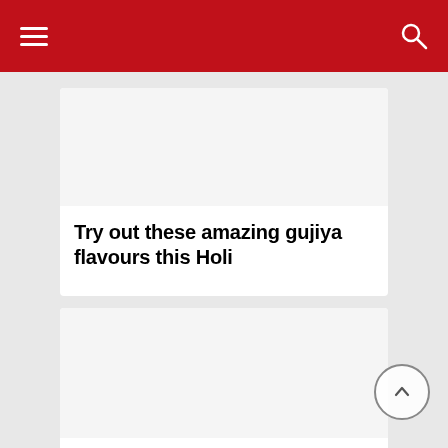Try out these amazing gujiya flavours this Holi
[Figure (photo): Blank image placeholder for gujiya article]
Fusion desserts every foodie must try this Holi
[Figure (photo): Blank image placeholder for fusion desserts article]